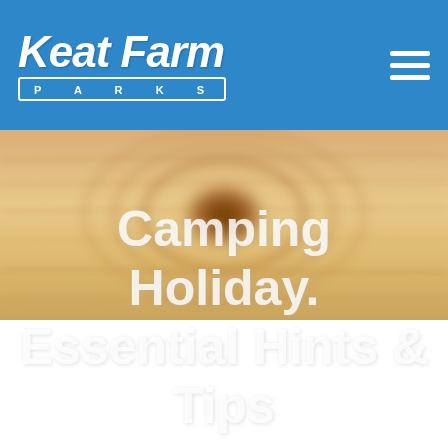Keat Farm Parks
[Figure (photo): Blurred close-up photo of wood grain with a knot, warm sandy/tan tones]
Camping Holiday. Essential Hints & Tips